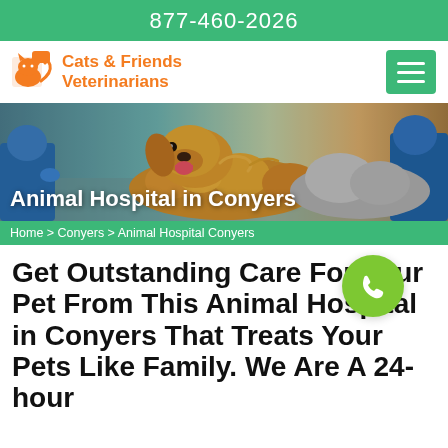877-460-2026
[Figure (logo): Cats & Friends Veterinarians logo with orange cat icon and orange text]
[Figure (photo): Hero image of a fluffy dog on an exam table with veterinary staff in background]
Animal Hospital in Conyers
Home > Conyers > Animal Hospital Conyers
Get Outstanding Care For Your Pet From This Animal Hospital in Conyers That Treats Your Pets Like Family. We Are A 24-hour